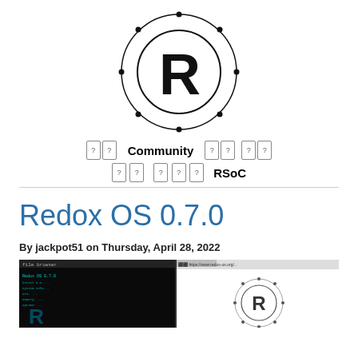[Figure (logo): Redox OS logo: large letter R inside a circle, surrounded by an outer orbit circle with dots at various points, black on white]
[Figure (infographic): Navigation bar with icon boxes (question mark placeholder icons), bold text 'Community' in center, 'RSoC' on right, two rows of icon boxes]
Redox OS 0.7.0
By jackpot51 on Thursday, April 28, 2022
[Figure (screenshot): Screenshot of Redox OS 0.7.0 desktop showing a terminal on the left with cyan/blue text on black background, and a browser window on the right showing the Redox OS website with the R logo]